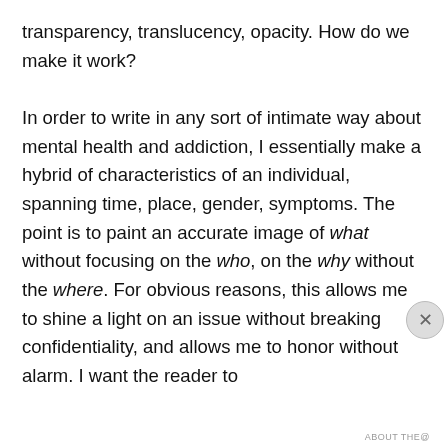transparency, translucency, opacity. How do we make it work?

In order to write in any sort of intimate way about mental health and addiction, I essentially make a hybrid of characteristics of an individual, spanning time, place, gender, symptoms. The point is to paint an accurate image of what without focusing on the who, on the why without the where. For obvious reasons, this allows me to shine a light on an issue without breaking confidentiality, and allows me to honor without alarm. I want the reader to
Privacy & Cookies: This site uses cookies. By continuing to use this website, you agree to their use.
To find out more, including how to control cookies, see here: Cookie Policy